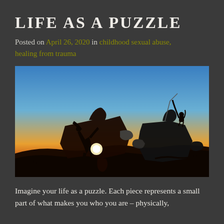LIFE AS A PUZZLE
Posted on April 26, 2020 in childhood sexual abuse, healing from trauma
[Figure (photo): Silhouette of two people connecting giant puzzle pieces against a sunset sky. One person pushes a large puzzle piece from the left, while another person standing atop a second puzzle piece on the right pulls the first piece up with a rope. The sky transitions from warm orange at the horizon to blue at the top.]
Imagine your life as a puzzle. Each piece represents a small part of what makes you who you are – physically,